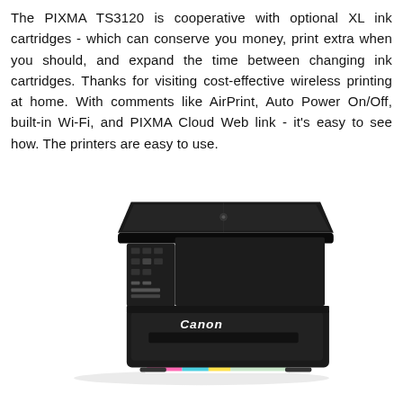The PIXMA TS3120 is cooperative with optional XL ink cartridges - which can conserve you money, print extra when you should, and expand the time between changing ink cartridges. Thanks for visiting cost-effective wireless printing at home. With comments like AirPrint, Auto Power On/Off, built-in Wi-Fi, and PIXMA Cloud Web link - it's easy to see how. The printers are easy to use.
[Figure (photo): Canon PIXMA TS3120 all-in-one inkjet printer in black, shown from a front-left angle with a printed photo page partially ejected from the front output tray. The Canon logo is visible on the front panel.]